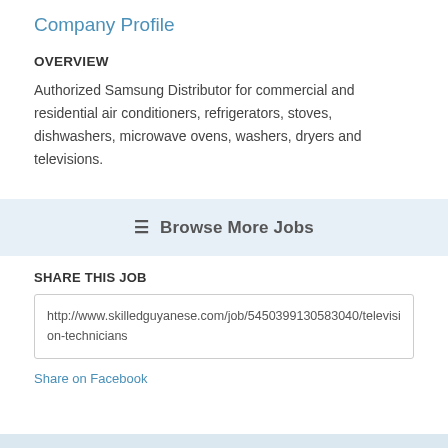Company Profile
OVERVIEW
Authorized Samsung Distributor for commercial and residential air conditioners, refrigerators, stoves, dishwashers, microwave ovens, washers, dryers and televisions.
☰ Browse More Jobs
SHARE THIS JOB
http://www.skilledguyanese.com/job/5450399130583040/television-technicians
Share on Facebook